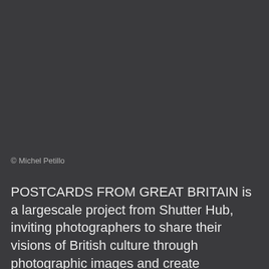[Figure (photo): Dark grey background area representing a photograph placeholder]
© Michel Petillo
POSTCARDS FROM GREAT BRITAIN is a largescale project from Shutter Hub, inviting photographers to share their visions of British culture through photographic images and create conversations and exchange. Pop-up exhibitions are being held in locations across Europe